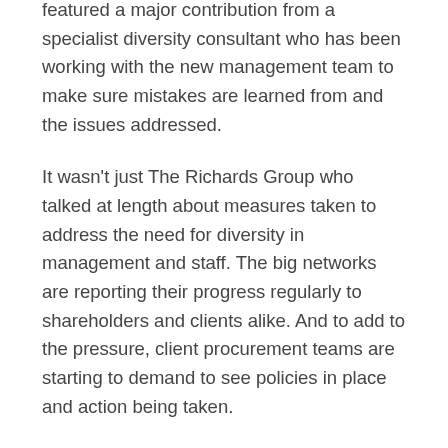featured a major contribution from a specialist diversity consultant who has been working with the new management team to make sure mistakes are learned from and the issues addressed.
It wasn't just The Richards Group who talked at length about measures taken to address the need for diversity in management and staff. The big networks are reporting their progress regularly to shareholders and clients alike. And to add to the pressure, client procurement teams are starting to demand to see policies in place and action being taken.
This is an issue whose role is not diminishing in any way in the months since Black Lives Matter came to prominence.